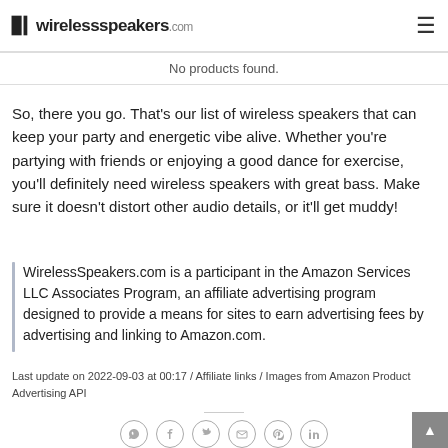time takes 2.5 hours before it's ready to power up for 15 hours.
wirelessspeakers.com
No products found.
So, there you go. That's our list of wireless speakers that can keep your party and energetic vibe alive. Whether you're partying with friends or enjoying a good dance for exercise, you'll definitely need wireless speakers with great bass. Make sure it doesn't distort other audio details, or it'll get muddy!
WirelessSpeakers.com is a participant in the Amazon Services LLC Associates Program, an affiliate advertising program designed to provide a means for sites to earn advertising fees by advertising and linking to Amazon.com.
Last update on 2022-09-03 at 00:17 / Affiliate links / Images from Amazon Product Advertising API